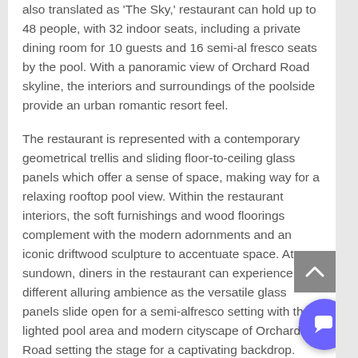also translated as 'The Sky,' restaurant can hold up to 48 people, with 32 indoor seats, including a private dining room for 10 guests and 16 semi-al fresco seats by the pool. With a panoramic view of Orchard Road skyline, the interiors and surroundings of the poolside provide an urban romantic resort feel.
The restaurant is represented with a contemporary geometrical trellis and sliding floor-to-ceiling glass panels which offer a sense of space, making way for a relaxing rooftop pool view. Within the restaurant interiors, the soft furnishings and wood floorings complement with the modern adornments and an iconic driftwood sculpture to accentuate space. At sundown, diners in the restaurant can experience a different alluring ambience as the versatile glass panels slide open for a semi-alfresco setting with the lighted pool area and modern cityscape of Orchard Road setting the stage for a captivating backdrop.